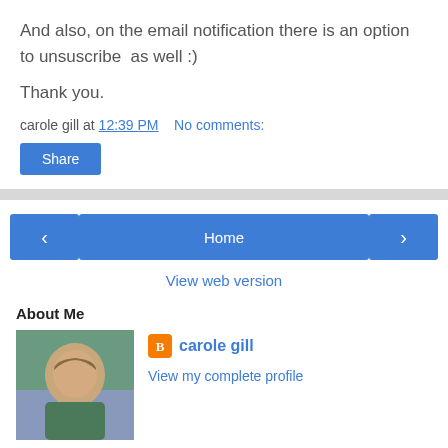And also, on the email notification there is an option to unsuscribe  as well :)
Thank you.
carole gill at 12:39 PM    No comments:
[Figure (screenshot): Share button]
[Figure (screenshot): Navigation buttons: left arrow, Home, right arrow]
View web version
About Me
[Figure (photo): Profile photo of carole gill]
carole gill
View my complete profile
Powered by Blogger.